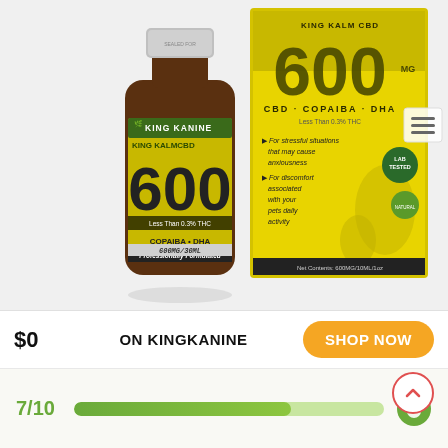[Figure (photo): Product photo of King Kalm CBD 600mg bottle (amber glass, 30ml) next to its yellow product box showing KING KANINE KING KALM CBD 600 CBD COPAIBA DHA, Less Than 0.3% THC, Professionally Formulated, 600MG/30ML, bullet points for stressful situations and discomfort, LAB TESTED badge, silhouette of dog and cat, Net Contents: 600MG/10ML/1oz]
$0
ON KINGKANINE
SHOP NOW
7/10